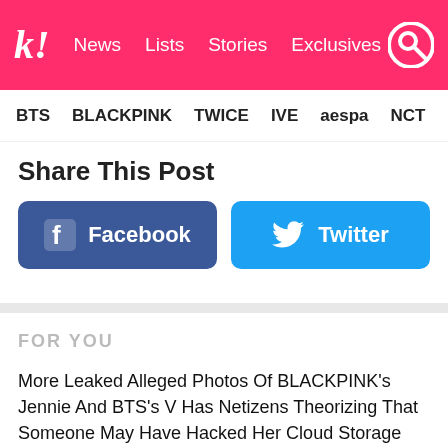k! News  Lists  Stories  Exclusives
BTS  BLACKPINK  TWICE  IVE  aespa  NCT  NewJ
Share This Post
[Figure (other): Facebook share button (blue rounded rectangle with Facebook logo icon and text 'Facebook')]
[Figure (other): Twitter share button (light blue rounded rectangle with Twitter bird icon and text 'Twitter')]
FOR YOU
More Leaked Alleged Photos Of BLACKPINK's Jennie And BTS's V Has Netizens Theorizing That Someone May Have Hacked Her Cloud Storage
CEO Of Girl Group CRAXY Spills On The Harsh Reality And Struggles Lesser Known Groups Face On Music Shows